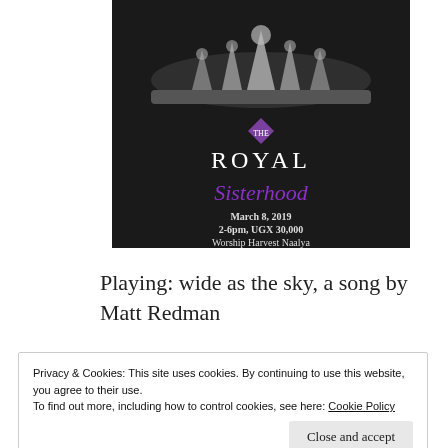[Figure (illustration): Event flyer for 'The Royal Sisterhood' showing a tiara/crown in black and white with purple script text reading 'THE ROYAL Sisterhood' and event details: March 8, 2019, 2-6pm, UGX 30,000, Worship Harvest Naalya]
Playing: wide as the sky, a song by Matt Redman
Privacy & Cookies: This site uses cookies. By continuing to use this website, you agree to their use.
To find out more, including how to control cookies, see here: Cookie Policy